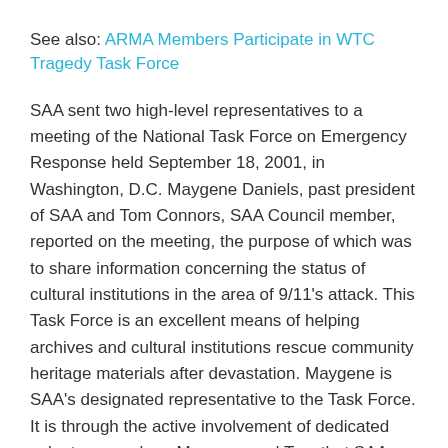See also: ARMA Members Participate in WTC Tragedy Task Force
SAA sent two high-level representatives to a meeting of the National Task Force on Emergency Response held September 18, 2001, in Washington, D.C. Maygene Daniels, past president of SAA and Tom Connors, SAA Council member, reported on the meeting, the purpose of which was to share information concerning the status of cultural institutions in the area of 9/11's attack. This Task Force is an excellent means of helping archives and cultural institutions rescue community heritage materials after devastation. Maygene is SAA's designated representative to the Task Force. It is through the active involvement of dedicated volunteers such as Maygene and Tom that SAA can contribute to healing the wounds of this tragedy.